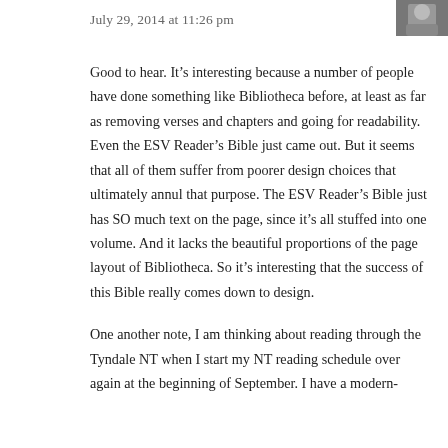[Figure (photo): Small avatar/profile photo thumbnail in top right corner]
July 29, 2014 at 11:26 pm
Good to hear. It’s interesting because a number of people have done something like Bibliotheca before, at least as far as removing verses and chapters and going for readability. Even the ESV Reader’s Bible just came out. But it seems that all of them suffer from poorer design choices that ultimately annul that purpose. The ESV Reader’s Bible just has SO much text on the page, since it’s all stuffed into one volume. And it lacks the beautiful proportions of the page layout of Bibliotheca. So it’s interesting that the success of this Bible really comes down to design.
One another note, I am thinking about reading through the Tyndale NT when I start my NT reading schedule over again at the beginning of September. I have a modern-